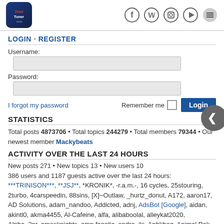TriniTuner.com logo and social icons (Facebook, Twitter, Instagram, Play, Menu)
LOGIN · REGISTER
Username:
Password:
I forgot my password   Remember me  [checkbox]  Login
STATISTICS
Total posts 4873706 • Total topics 244279 • Total members 79344 • Our newest member Mackybeats
ACTIVITY OVER THE LAST 24 HOURS
New posts 271 • New topics 13 • New users 10
386 users and 1187 guests active over the last 24 hours: ***TRINISON***, **JSJ**, *KRONIK*, -r.a.m.-, 16 cycles, 25stouring, 2turbo, 4carspeedin, 88sins, [X]~Outlaw, _hurtz_donut, A172, aaron17, AD Solutions, adam_nandoo, Addicted, adnj, AdsBot [Google], aidan, akintl0, akma4455, Al-Cafeine, alfa, alibaboolal, alleykat2020, Alpha_2nr, amosknights, amp.fanatic, andre_jls, Anhkheg, Animal Pak, asjaman6as, assassin, AVSlimitedTT, Baidu [Spider], Bansraj, bbainey, Berzerker,